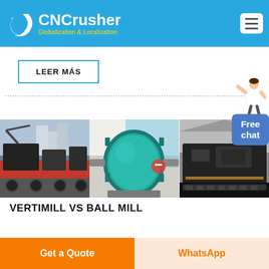[Figure (logo): CNCrusher logo with white crescent/swirl icon and text 'CNCrusher Globalization & Localization' on blue header bar]
LEER MÁS
[Figure (infographic): Free chat button with a woman figure icon pointing, blue rounded button reading 'Free chat']
[Figure (photo): Three product photos side by side: heavy machinery on trucks, a teal/green ball mill, and industrial crushing equipment]
VERTIMILL VS BALL MILL
Get a Quote
WhatsApp